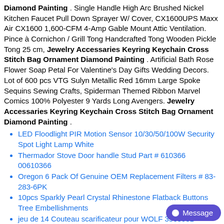Diamond Painting. Single Handle High Arc Brushed Nickel Kitchen Faucet Pull Down Sprayer W/ Cover, CX1600UPS Maxx Air CX1600 1,600-CFM 4-Amp Gable Mount Attic Ventilation. Pince à Cornichon / Grill Tong Handcrafted Tong Wooden Pickle Tong 25 cm, Jewelry Accessaries Keyring Keychain Cross Stitch Bag Ornament Diamond Painting. Artificial Bath Rose Flower Soap Petal For Valentine's Day Gifts Wedding Decors. Lot of 600 pcs VTG Sulyn Metallic Red 16mm Large Spoke Sequins Sewing Crafts, Spiderman Themed Ribbon Marvel Comics 100% Polyester 9 Yards Long Avengers. Jewelry Accessaries Keyring Keychain Cross Stitch Bag Ornament Diamond Painting.
LED Floodlight PIR Motion Sensor 10/30/50/100W Security Spot Light Lamp White
Thermador Stove Door handle Stud Part # 610366 00610366
Oregon 6 Pack Of Genuine OEM Replacement Filters # 83-283-6PK
10pcs Sparkly Pearl Crystal Rhinestone Flatback Buttons Tree Embellishments
jeu de 14 Couteau scarificateur pour WOLF 3568081
Dual-Way Bank/Office/Station Window Counter Intercom Interphone System 110-240V